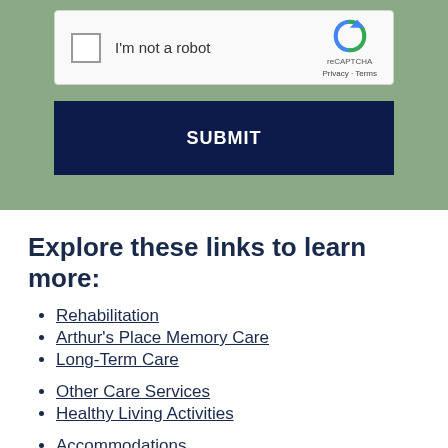[Figure (screenshot): reCAPTCHA widget with checkbox labeled I'm not a robot and reCAPTCHA logo with Privacy and Terms links]
SUBMIT
Explore these links to learn more:
Rehabilitation
Arthur’s Place Memory Care
Long-Term Care
Other Care Services
Healthy Living Activities
Accommodations